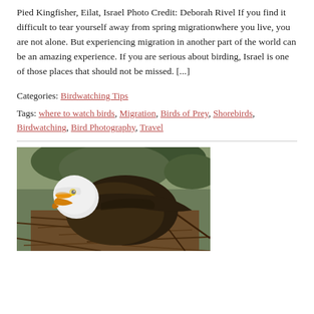Pied Kingfisher, Eilat, Israel Photo Credit: Deborah Rivel If you find it difficult to tear yourself away from spring migrationwhere you live, you are not alone. But experiencing migration in another part of the world can be an amazing experience. If you are serious about birding, Israel is one of those places that should not be missed. [...]
Categories: Birdwatching Tips
Tags: where to watch birds, Migration, Birds of Prey, Shorebirds, Birdwatching, Bird Photography, Travel
[Figure (photo): A bald eagle with white head and yellow beak sitting in a large nest made of sticks and twigs, with green foliage in the background.]